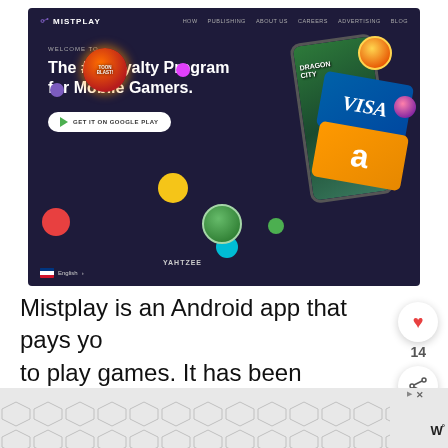[Figure (screenshot): Screenshot of Mistplay website homepage showing dark purple background with headline 'The #1 Loyalty Program for Mobile Gamers.', a GET IT ON GOOGLE PLAY button, floating game icons (Toon Blast, etc.), a phone mockup with game screenshot, VISA and Amazon gift cards, and navigation bar. Language selector shows English flag at bottom left.]
Mistplay is an Android app that pays you to play games. It has been downloaded more than 10 million times and has paid gamers almost $9 million in rewards.